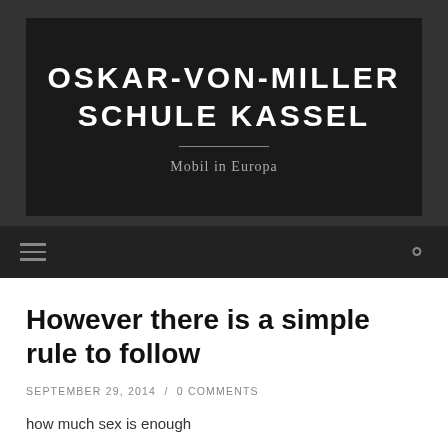OSKAR-VON-MILLER SCHULE KASSEL
Mobil in Europa
However there is a simple rule to follow
SEPTEMBER 29, 2014 / 0 COMMENTS
how much sex is enough